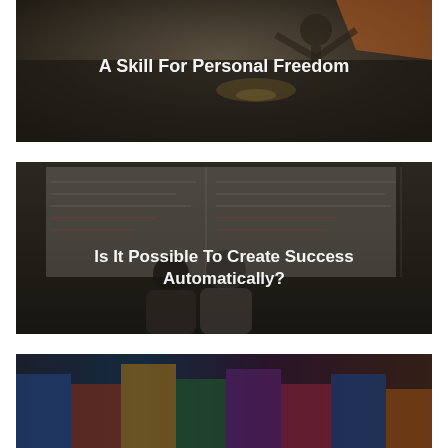[Figure (photo): Dark photo of a person with arms raised outdoors over water, with text overlay 'A Skill For Personal Freedom']
[Figure (photo): Dark photo of two men standing in front of a whiteboard, with text overlay 'Is It Possible To Create Success Automatically?']
[Figure (photo): Partial photo at bottom of page with colorful elements visible]